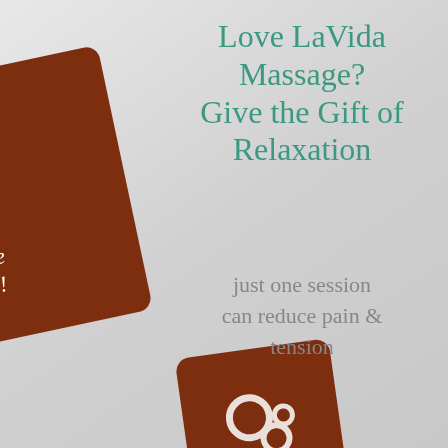[Figure (illustration): LaVida Massage gift cards shown at angles on a gray background. A brown card with white LaVida Massage logo and swirl is partially visible on the upper left. Text 'the' and 'le!' in white italic script visible on card. A second brown card with white swirl logo is partially visible at the bottom center.]
Love LaVida Massage? Give the Gift of Relaxation
just one session can reduce pain & tension